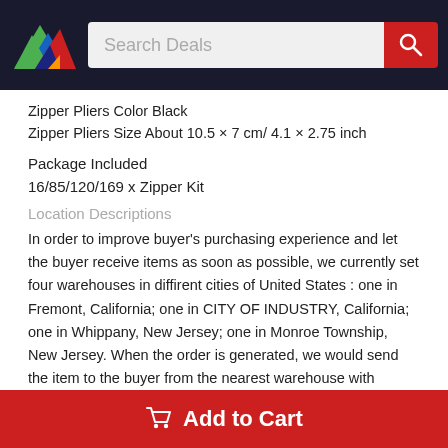Search Deals
Zipper Pliers Color Black
Zipper Pliers Size About 10.5 × 7 cm/ 4.1 × 2.75 inch
Package Included
16/85/120/169 x Zipper Kit
Location Descriptions
In order to improve buyer's purchasing experience and let the buyer receive items as soon as possible, we currently set four warehouses in diffirent cities of United States : one in Fremont, California; one in CITY OF INDUSTRY, California; one in Whippany, New Jersey; one in Monroe Township, New Jersey. When the order is generated, we would send the item to the buyer from the nearest warehouse with sufficient inventory to the order receiving
Add to Cart